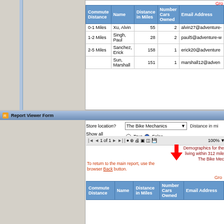| Commute Distance | Name | Distance in Miles | Number Cars Owned | Email Address |
| --- | --- | --- | --- | --- |
| 0-1 Miles | Xu, Alvin | 55 | 2 | alvin27@adventure- |
| 1-2 Miles | Singh, Paul | 28 | 2 | paul5@adventure-w |
| 2-5 Miles | Sanchez, Erick | 158 | 1 | erick20@adventure |
|  | Sun, Marshall | 151 | 1 | marshall12@adven |
Report Viewer Form
Distance in Miles
312
Refresh Report
Store location?  The Bike Mechanics
Show all information?  True  False
Distance in mi
1  of 1  100%
[Figure (logo): Adventure Works logo with cyclist silhouette]
Demographics for the living within 312 mile The Bike Mec
To return to the main report, use the browser Back button.
Gro
| Commute Distance | Name | Distance in Miles | Number Cars Owned | Email Address |
| --- | --- | --- | --- | --- |